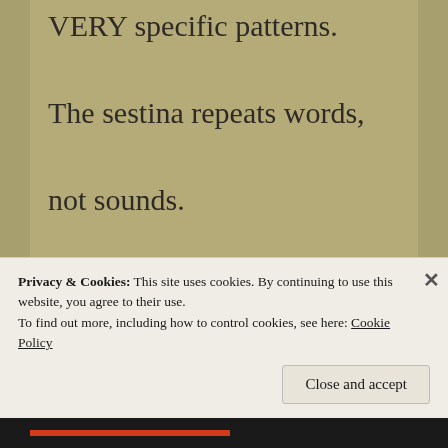VERY specific patterns. The sestina repeats words, not sounds. Sestinas do not rhyme You choose 6 words that will be repeated throughout the entire poem at the end of
Privacy & Cookies: This site uses cookies. By continuing to use this website, you agree to their use.
To find out more, including how to control cookies, see here: Cookie Policy